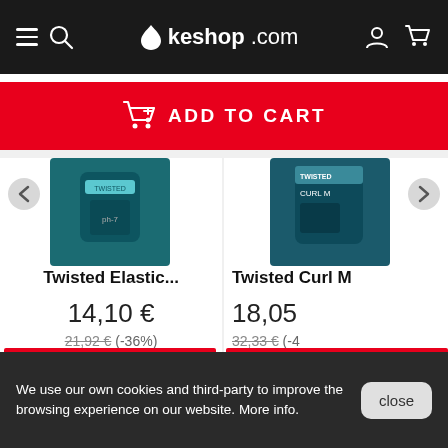keshop.com
ADD TO CART
[Figure (photo): Product image: Twisted Elastic... teal/dark green container]
Twisted Elastic...
14,10 €
21,92 € (-36%)
ADD TO CART
[Figure (photo): Product image: Twisted Curl M teal container, partially visible]
Twisted Curl M
18,05
32,33 € (-4
ADD TO
We use our own cookies and third-party to improve the browsing experience on our website. More info.